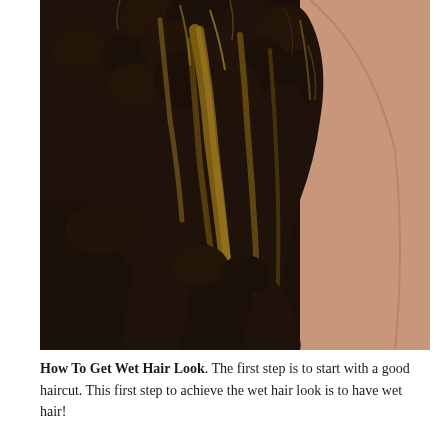[Figure (photo): Close-up back view of a person with long, voluminous, dark curly hair with caramel highlights, wearing a black leather jacket. Person's bare neck/shoulder visible on the right side.]
How To Get Wet Hair Look. The first step is to start with a good haircut. This first step to achieve the wet hair look is to have wet hair!